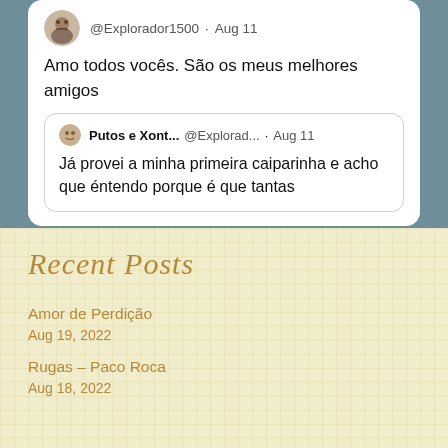[Figure (screenshot): Tweet from @Explorador1500 on Aug 11 saying 'Amo todos vocês. São os meus melhores amigos' with a quoted tweet from Putos e Xont... @Explorad... on Aug 11 saying 'Já provei a minha primeira caiparinha e acho que éntendo porque é que tantas']
Recent Posts
Amor de Perdição
Aug 19, 2022
Rugas – Paco Roca
Aug 18, 2022